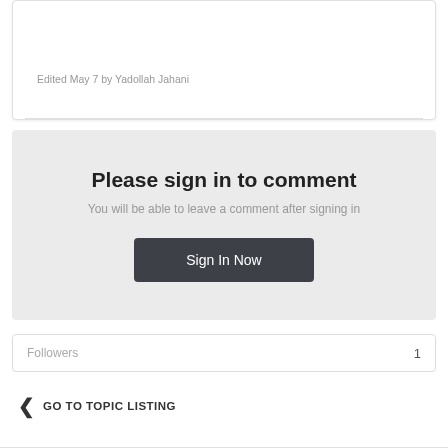Edited May 7 by Yadollah Jahani
Please sign in to comment
You will be able to leave a comment after signing in
Sign In Now
Followers  1
< GO TO TOPIC LISTING